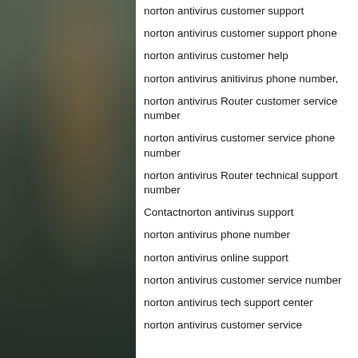[Figure (photo): Dark industrial machinery photo on the left side of the page]
norton antivirus customer support
norton antivirus customer support phone
norton antivirus customer help
norton antivirus anitivirus phone number,
norton antivirus Router customer service number
norton antivirus customer service phone number
norton antivirus Router technical support number
Contactnorton antivirus support
norton antivirus phone number
norton antivirus online support
norton antivirus customer service number
norton antivirus tech support center
norton antivirus customer service